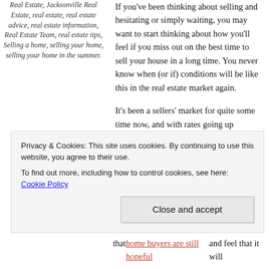Real Estate, Jacksonville Real Estate, real estate, real estate advice, real estate information, Real Estate Team, real estate tips, Selling a home, selling your home, selling your home in the summer.
If you've been thinking about selling and hesitating or simply waiting, you may want to start thinking about how you'll feel if you miss out on the best time to sell your house in a long time. You never know when (or if) conditions will be like this in the real estate market again.
It's been a sellers' market for quite some time now, and with rates going up significantly and home prices still historically high, there's a lot of chatter about whether or not there's a real estate “bubble” that's about to pop. In particular, The Federal Reserve Bank of Dallas recently warned about the potential of a
Privacy & Cookies: This site uses cookies. By continuing to use this website, you agree to their use. To find out more, including how to control cookies, see here: Cookie Policy
that home buyers are still hopeful and feel that it will